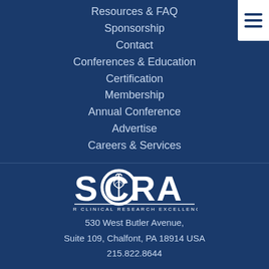Resources & FAQ
Sponsorship
Contact
Conferences & Education
Certification
Membership
Annual Conference
Advertise
Careers & Services
[Figure (logo): SOCRA - For Clinical Research Excellence logo with caduceus emblem]
530 West Butler Avenue,
Suite 109, Chalfont, PA 18914 USA
215.822.8644